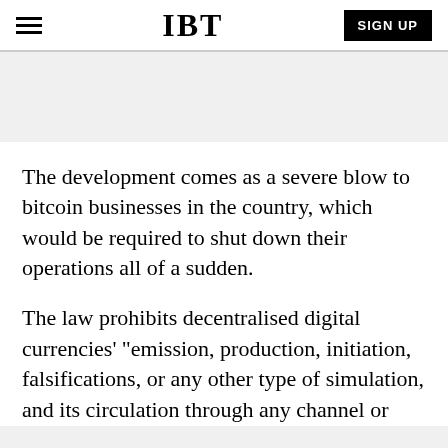IBT | SIGN UP
The development comes as a severe blow to bitcoin businesses in the country, which would be required to shut down their operations all of a sudden.
The law prohibits decentralised digital currencies' "emission, production, initiation, falsifications, or any other type of simulation, and its circulation through any channel or way of representation".